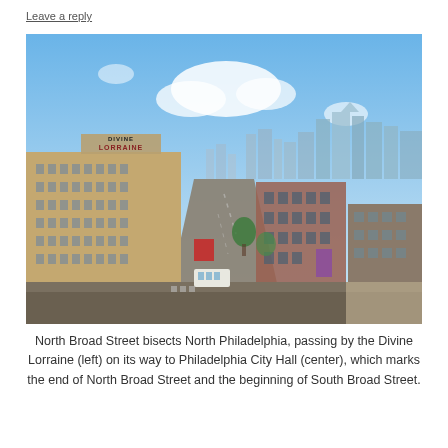Leave a reply
[Figure (photo): Aerial view looking south along North Broad Street in Philadelphia, showing the Divine Lorraine Hotel on the left with its rooftop sign, urban street below with traffic and buses, red-brick buildings in the mid-ground, and the Philadelphia city skyline including City Hall and modern skyscrapers in the background under a partly cloudy blue sky.]
North Broad Street bisects North Philadelphia, passing by the Divine Lorraine (left) on its way to Philadelphia City Hall (center), which marks the end of North Broad Street and the beginning of South Broad Street.